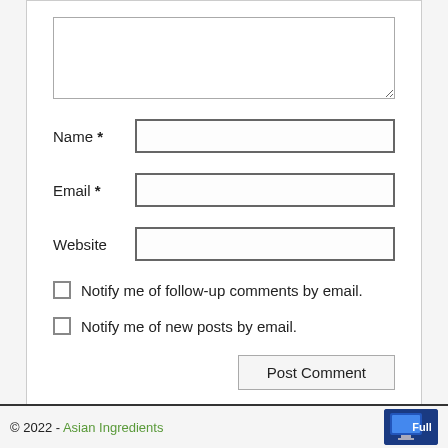[Figure (screenshot): Comment form with textarea, Name, Email, Website fields, two checkboxes, and Post Comment button]
Name *
Email *
Website
Notify me of follow-up comments by email.
Notify me of new posts by email.
Post Comment
© 2022 - Asian Ingredients